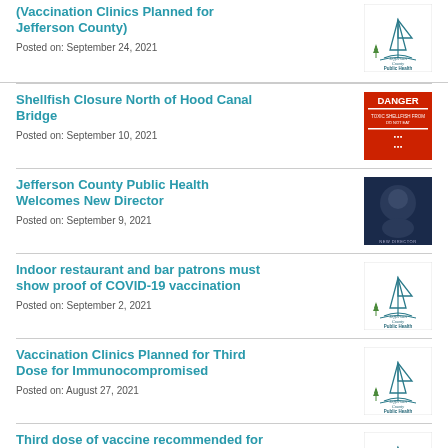(Vaccination Clinics Planned for Jefferson County)
Posted on: September 24, 2021
[Figure (logo): Jefferson County Public Health logo]
Shellfish Closure North of Hood Canal Bridge
Posted on: September 10, 2021
[Figure (photo): Red DANGER warning sign for shellfish closure]
Jefferson County Public Health Welcomes New Director
Posted on: September 9, 2021
[Figure (photo): Dark blue graphic with person photo for new director announcement]
Indoor restaurant and bar patrons must show proof of COVID-19 vaccination
Posted on: September 2, 2021
[Figure (logo): Jefferson County Public Health logo]
Vaccination Clinics Planned for Third Dose for Immunocompromised
Posted on: August 27, 2021
[Figure (logo): Jefferson County Public Health logo]
Third dose of vaccine recommended for